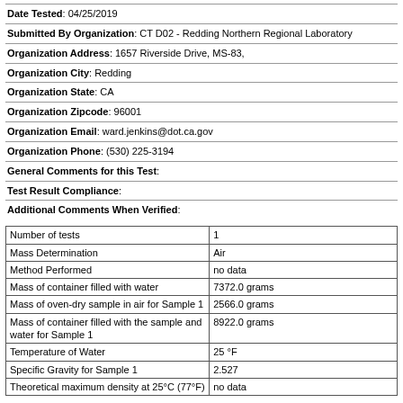Date Tested: 04/25/2019
Submitted By Organization: CT D02 - Redding Northern Regional Laboratory
Organization Address: 1657 Riverside Drive, MS-83,
Organization City: Redding
Organization State: CA
Organization Zipcode: 96001
Organization Email: ward.jenkins@dot.ca.gov
Organization Phone: (530) 225-3194
General Comments for this Test:
Test Result Compliance:
Additional Comments When Verified:
| Number of tests | 1 |
| Mass Determination | Air |
| Method Performed | no data |
| Mass of container filled with water | 7372.0 grams |
| Mass of oven-dry sample in air for Sample 1 | 2566.0 grams |
| Mass of container filled with the sample and water for Sample 1 | 8922.0 grams |
| Temperature of Water | 25 °F |
| Specific Gravity for Sample 1 | 2.527 |
| Theoretical maximum density at 25°C (77°F) | no data |